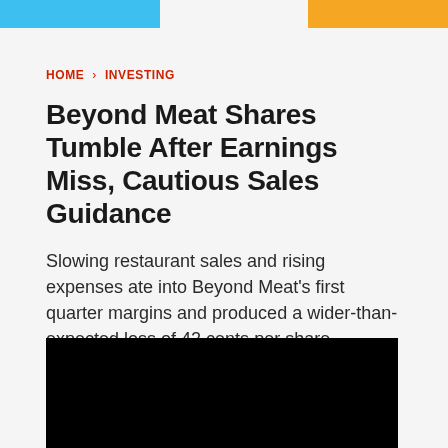HOME > INVESTING
Beyond Meat Shares Tumble After Earnings Miss, Cautious Sales Guidance
Slowing restaurant sales and rising expenses ate into Beyond Meat's first quarter margins and produced a wider-than-expected loss of 42 cents per share.
MARTIN BACCARDAX • MAY 7, 2021 6:29 AM EDT
[Figure (photo): Black video player block]